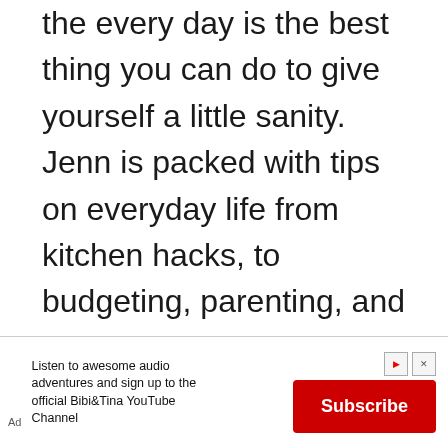the every day is the best thing you can do to give yourself a little sanity. Jenn is packed with tips on everyday life from kitchen hacks, to budgeting, parenting, and working from home. Jenn is an avid herbalist and homeschooling mom with tips and tricks for busy moms looking to simplify life.
[Figure (other): Advertisement banner: 'Listen to awesome audio adventures and sign up to the official Bibi&Tina YouTube Channel' with a red Subscribe button, Ad label, play icon and close icon.]